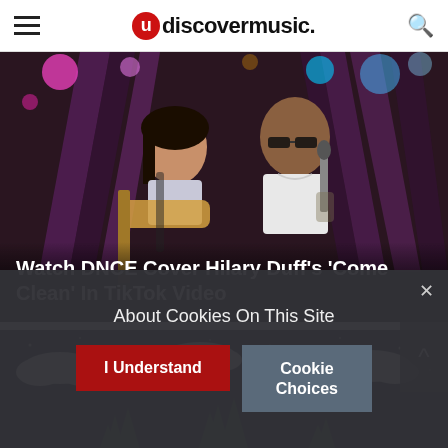udiscovermusic.
[Figure (photo): DNCE performing on stage. A woman with dark hair playing guitar in a silver top, and a man singing into a microphone wearing a white tank top and sunglasses, colorful stage lights in the background.]
Watch DNCE Cover Hilary Duff's 'Come Clean' In TikTok Video
[Figure (screenshot): Animated dark night scene with pine trees, clouds, and a small cabin or tent at the bottom, against a dark blue starry sky background.]
About Cookies On This Site
I Understand
Cookie Choices